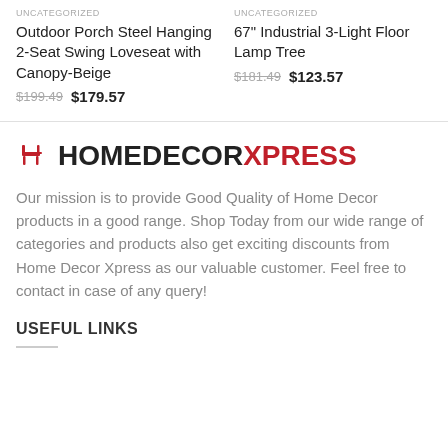UNCATEGORIZED
Outdoor Porch Steel Hanging 2-Seat Swing Loveseat with Canopy-Beige
$199.49  $179.57
UNCATEGORIZED
67" Industrial 3-Light Floor Lamp Tree
$181.49  $123.57
[Figure (logo): HomedecorXpress logo with red chair icon and bold text HOMEDECORXPRESS where XPRESS is in red]
Our mission is to provide Good Quality of Home Decor products in a good range. Shop Today from our wide range of categories and products also get exciting discounts from Home Decor Xpress as our valuable customer. Feel free to contact in case of any query!
USEFUL LINKS